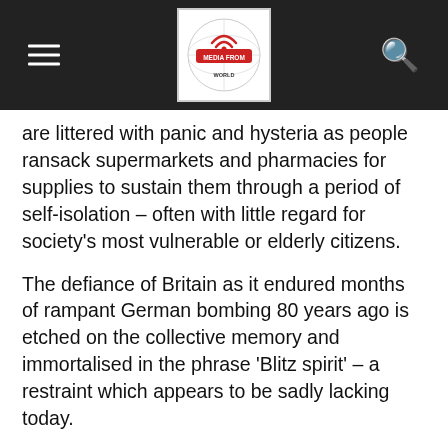Media From World (logo/header bar)
are littered with panic and hysteria as people ransack supermarkets and pharmacies for supplies to sustain them through a period of self-isolation – often with little regard for society's most vulnerable or elderly citizens.
The defiance of Britain as it endured months of rampant German bombing 80 years ago is etched on the collective memory and immortalised in the phrase 'Blitz spirit' – a restraint which appears to be sadly lacking today.
For much of 1940, the UK was under heavy bombardment. For eight consecutive months, every dawn brought a new terrible toll – more bodies, more craters in the street, more buildings reduced to rubble and more fires.